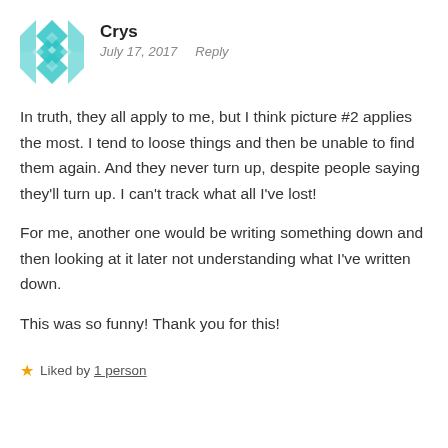[Figure (illustration): Teal/cyan geometric diamond-pattern avatar icon for user Crys]
Crys
July 17, 2017  Reply
In truth, they all apply to me, but I think picture #2 applies the most. I tend to loose things and then be unable to find them again. And they never turn up, despite people saying they'll turn up. I can't track what all I've lost!
For me, another one would be writing something down and then looking at it later not understanding what I've written down.
This was so funny! Thank you for this!
★ Liked by 1 person